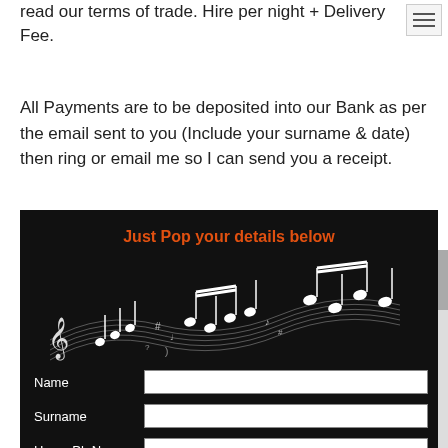read our terms of trade. Hire per night + Delivery Fee.
All Payments are to be deposited into our Bank as per the email sent to you (Include your surname & date) then ring or email me so I can send you a receipt.
[Figure (infographic): Dark/black background form section with music notes illustration and orange heading 'Just Pop your details below', plus form fields for Name, Surname, Home Ph No.]